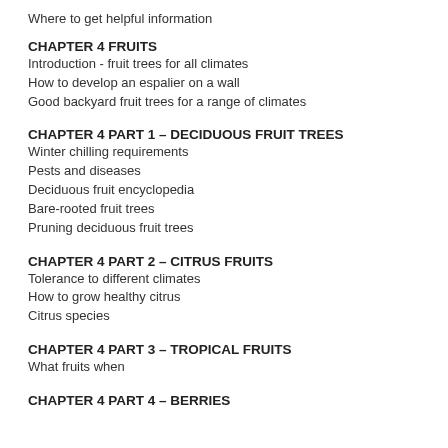Where to get helpful information
CHAPTER 4 FRUITS
Introduction - fruit trees for all climates
How to develop an espalier on a wall
Good backyard fruit trees for a range of climates
CHAPTER 4 PART 1 – DECIDUOUS FRUIT TREES
Winter chilling requirements
Pests and diseases
Deciduous fruit encyclopedia
Bare-rooted fruit trees
Pruning deciduous fruit trees
CHAPTER 4 PART 2 – CITRUS FRUITS
Tolerance to different climates
How to grow healthy citrus
Citrus species
CHAPTER 4 PART 3 – TROPICAL FRUITS
What fruits when
CHAPTER 4 PART 4 – BERRIES